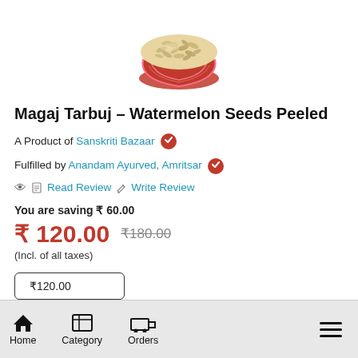[Figure (photo): Product photo of peeled watermelon seeds in a red decorative bowl]
Magaj Tarbuj – Watermelon Seeds Peeled
A Product of Sanskriti Bazaar [verified]
Fulfilled by Anandam Ayurved, Amritsar [verified]
👁 📖 Read Review ✏️ Write Review
You are saving ₹ 60.00
₹ 120.00   ₹180.00
(Incl. of all taxes)
₹120.00
Home   Category   Orders